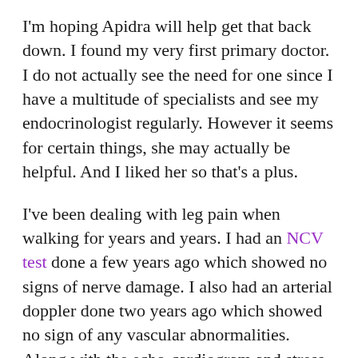I'm hoping Apidra will help get that back down. I found my very first primary doctor. I do not actually see the need for one since I have a multitude of specialists and see my endocrinologist regularly. However it seems for certain things, she may actually be helpful. And I liked her so that's a plus.
I've been dealing with leg pain when walking for years and years. I had an NCV test done a few years ago which showed no signs of nerve damage. I also had an arterial doppler done two years ago which showed no sign of any vascular abnormalities. Along with the echo-cardiogram and stress test, my cardiologist ordered an ABI test, which tests for peripheral artery disease. This test was inconclusive which in one way is a good thing since there was no definite sign of PAD. My primary doctor ran blood work to check muscle